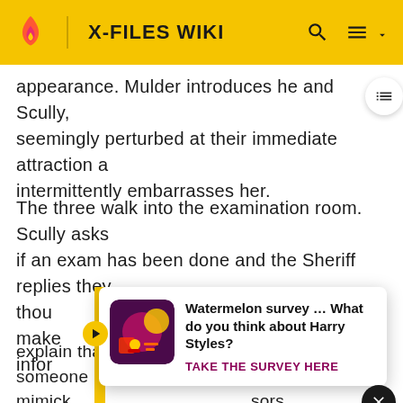X-FILES WIKI
appearance. Mulder introduces he and Scully, seemingly perturbed at their immediate attraction a intermittently embarrasses her.
The three walk into the examination room. Scully asks if an exam has been done and the Sheriff replies they thou This make inform explain that she now believes the killer is someone mimick sors to crea ld lead th lving into dif meone mimicking a person any office from The sher
[Figure (screenshot): Watermelon survey ad popup: 'Watermelon survey … What do you think about Harry Styles? TAKE THE SURVEY HERE']
[Figure (screenshot): Orphan First Kill movie ad - Paramount+ streaming advertisement]